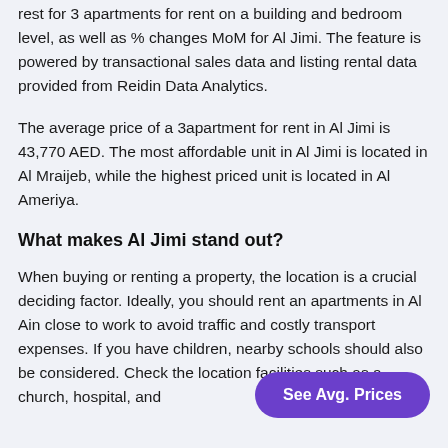rest for 3 apartments for rent on a building and bedroom level, as well as % changes MoM for Al Jimi. The feature is powered by transactional sales data and listing rental data provided from Reidin Data Analytics.
The average price of a 3apartment for rent in Al Jimi is 43,770 AED. The most affordable unit in Al Jimi is located in Al Mraijeb, while the highest priced unit is located in Al Ameriya.
What makes Al Jimi stand out?
When buying or renting a property, the location is a crucial deciding factor. Ideally, you should rent an apartments in Al Ain close to work to avoid traffic and costly transport expenses. If you have children, nearby schools should also be considered. Check the location facilities such as a church, hospital, and